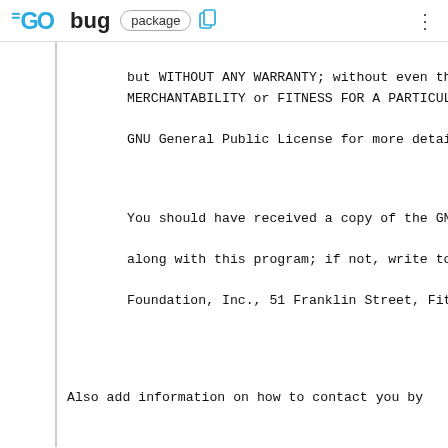GO bug  package
but WITHOUT ANY WARRANTY; without even th
MERCHANTABILITY or FITNESS FOR A PARTICUL
GNU General Public License for more detai

You should have received a copy of the GN
along with this program; if not, write to
Foundation, Inc., 51 Franklin Street, Fit


Also add information on how to contact you by

If the program is interactive, make it output
when it starts in an interactive mode:

    Gnomovision version 69, Copyright (C) yea
    Gnomovision comes with ABSOLUTELY NO WARR
    This is free software, and you are welcom
    under certain conditions; type `show c' t